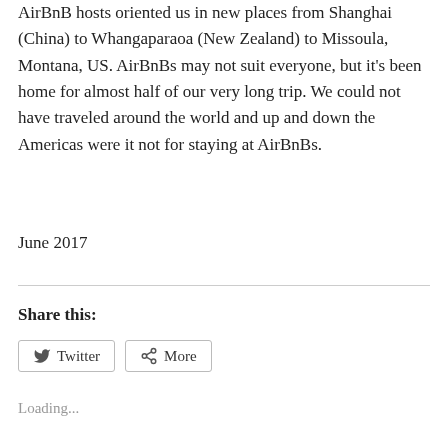AirBnB hosts oriented us in new places from Shanghai (China) to Whangaparaoa (New Zealand) to Missoula, Montana, US. AirBnBs may not suit everyone, but it's been home for almost half of our very long trip. We could not have traveled around the world and up and down the Americas were it not for staying at AirBnBs.
June 2017
Share this:
Twitter
More
Loading...